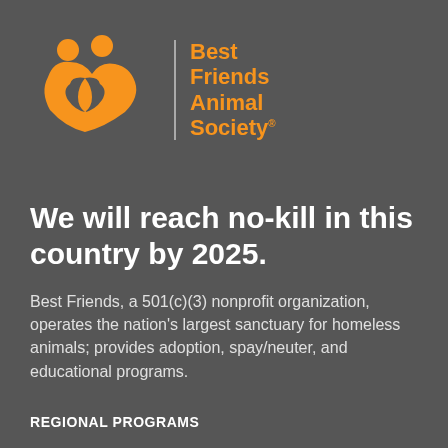[Figure (logo): Best Friends Animal Society logo: orange stylized animal/people figure on the left, vertical divider bar, and orange bold text reading 'Best Friends Animal Society' on the right]
We will reach no-kill in this country by 2025.
Best Friends, a 501(c)(3) nonprofit organization, operates the nation's largest sanctuary for homeless animals; provides adoption, spay/neuter, and educational programs.
REGIONAL PROGRAMS